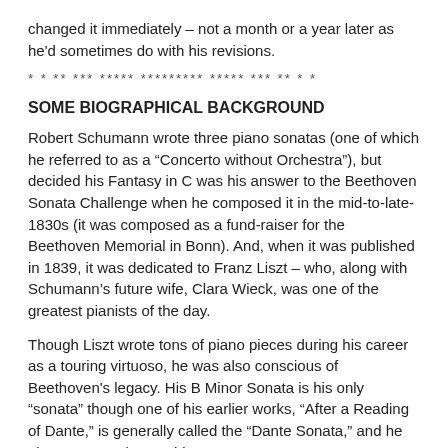changed it immediately – not a month or a year later as he'd sometimes do with his revisions.
* * ** *** ***** ********* ***** *** ** * *
SOME BIOGRAPHICAL BACKGROUND
Robert Schumann wrote three piano sonatas (one of which he referred to as a “Concerto without Orchestra”), but decided his Fantasy in C was his answer to the Beethoven Sonata Challenge when he composed it in the mid-to-late-1830s (it was composed as a fund-raiser for the Beethoven Memorial in Bonn). And, when it was published in 1839, it was dedicated to Franz Liszt – who, along with Schumann’s future wife, Clara Wieck, was one of the greatest pianists of the day.
Though Liszt wrote tons of piano pieces during his career as a touring virtuoso, he was also conscious of Beethoven's legacy. His B Minor Sonata is his only “sonata” though one of his earlier works, “After a Reading of Dante,” is generally called the “Dante Sonata,” and he also composed something